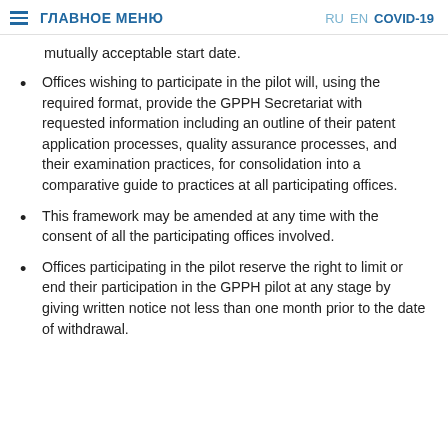ГЛАВНОЕ МЕНЮ   RU EN COVID-19
mutually acceptable start date.
Offices wishing to participate in the pilot will, using the required format, provide the GPPH Secretariat with requested information including an outline of their patent application processes, quality assurance processes, and their examination practices, for consolidation into a comparative guide to practices at all participating offices.
This framework may be amended at any time with the consent of all the participating offices involved.
Offices participating in the pilot reserve the right to limit or end their participation in the GPPH pilot at any stage by giving written notice not less than one month prior to the date of withdrawal.